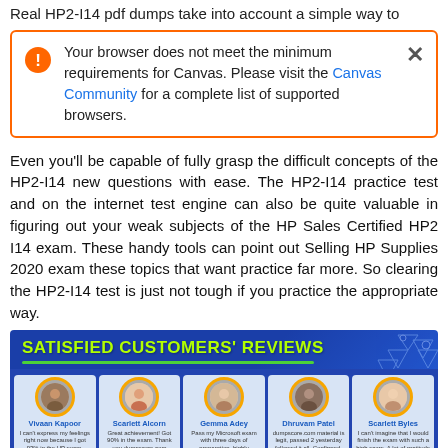Real HP2-I14 pdf dumps take into account a simple way to
[Figure (screenshot): Browser alert box with orange border warning: 'Your browser does not meet the minimum requirements for Canvas. Please visit the Canvas Community for a complete list of supported browsers.' with an orange exclamation icon and close button X.]
Even you'll be capable of fully grasp the difficult concepts of the HP2-I14 new questions with ease. The HP2-I14 practice test and on the internet test engine can also be quite valuable in figuring out your weak subjects of the HP Sales Certified HP2 I14 exam. These handy tools can point out Selling HP Supplies 2020 exam these topics that want practice far more. So clearing the HP2-I14 test is just not tough if you practice the appropriate way.
[Figure (infographic): Satisfied Customers' Reviews banner in blue with green underline and geometric decoration, showing 5 customer review cards: Vivaan Kapoor, Scarlett Alcorn, Gemma Adey, Dhruvam Patel, Scarlett Byles, each with avatar photo and short review text.]